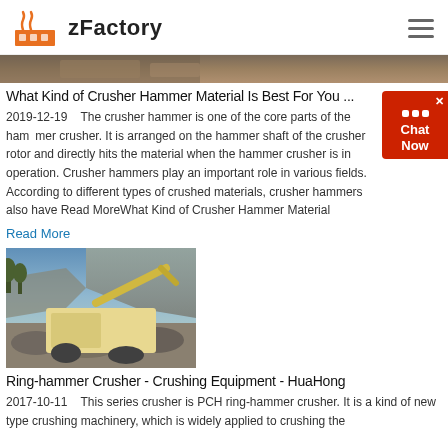zFactory
[Figure (photo): Partial view of industrial crusher machinery site at top of page]
What Kind of Crusher Hammer Material Is Best For You ...
2019-12-19    The crusher hammer is one of the core parts of the hammer crusher. It is arranged on the hammer shaft of the crusher rotor and directly hits the material when the hammer crusher is in operation. Crusher hammers play an important role in various fields. According to different types of crushed materials, crusher hammers also have Read MoreWhat Kind of Crusher Hammer Material
Read More
[Figure (photo): Photograph of a ring-hammer crusher machine in a quarry setting with rocks and sky in background]
Ring-hammer Crusher - Crushing Equipment - HuaHong
2017-10-11    This series crusher is PCH ring-hammer crusher. It is a kind of new type crushing machinery, which is widely applied to crushing the